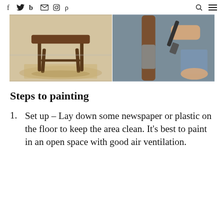f  Twitter  b  email  Instagram  Pinterest  [search]  [menu]
[Figure (photo): Two side-by-side photos: left shows a wooden stool sitting on brown paper/drop cloth on a floor; right shows a close-up of someone painting a furniture leg with a brush, blue paint visible on a small swatch.]
Steps to painting
Set up – Lay down some newspaper or plastic on the floor to keep the area clean. It’s best to paint in an open space with good air ventilation.